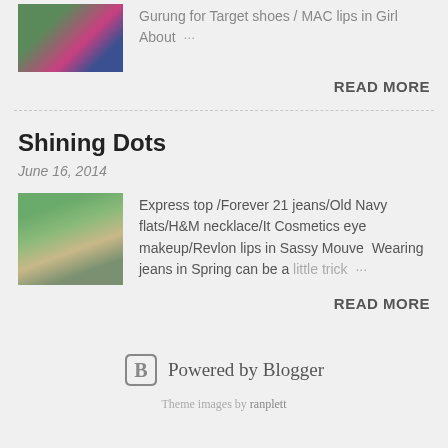[Figure (photo): Thumbnail photo of a person in pink top and blue dress]
Gurung for Target shoes / MAC lips in Girl About ...
READ MORE
Shining Dots
June 16, 2014
[Figure (photo): Thumbnail photo of a woman in white top and jeans standing outdoors]
Express top /Forever 21 jeans/Old Navy flats/H&M necklace/It Cosmetics eye makeup/Revlon lips in Sassy Mouve  Wearing jeans in Spring can be a little trick ...
READ MORE
Powered by Blogger
Theme images by ranplett